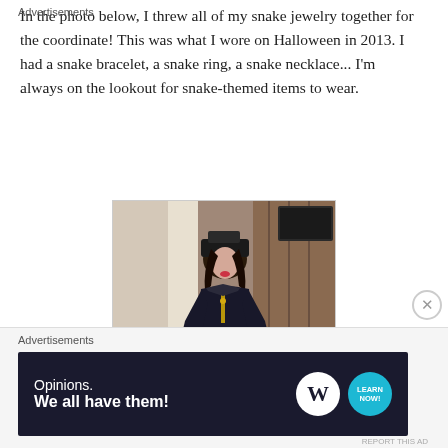In the photo below, I threw all of my snake jewelry together for the coordinate! This was what I wore on Halloween in 2013. I had a snake bracelet, a snake ring, a snake necklace... I'm always on the lookout for snake-themed items to wear.
[Figure (photo): A person wearing a dark navy/black gothic lolita dress with bronze/gold stripes and a decorative hat, sitting in what appears to be a hotel room. Halloween 2013 outfit featuring snake jewelry.]
Advertisements
[Figure (other): Advertisement banner with dark background reading 'Opinions. We all have them!' with WordPress logo and a blue circular logo.]